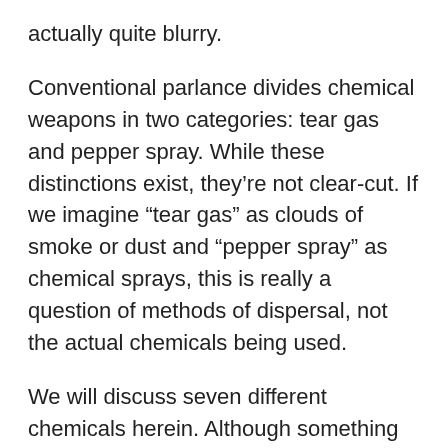actually quite blurry.
Conventional parlance divides chemical weapons in two categories: tear gas and pepper spray. While these distinctions exist, they’re not clear-cut. If we imagine “tear gas” as clouds of smoke or dust and “pepper spray” as chemical sprays, this is really a question of methods of dispersal, not the actual chemicals being used.
We will discuss seven different chemicals herein. Although something like fifteen varieties have been developed, we will focus on the most common ones that are either known to be used against demonstrators or at least widely suspected of being used thus. Of those seven, five of them are usually dispersed as gas, while two usually appear as a